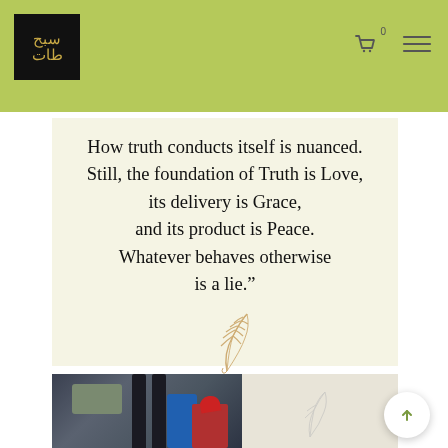[Logo] [Cart icon 0] [Menu icon]
How truth conducts itself is nuanced. Still, the foundation of Truth is Love, its delivery is Grace, and its product is Peace. Whatever behaves otherwise is a lie.”
[Figure (illustration): A golden feather/quill illustration]
[Figure (photo): Photo of cosmetic/beauty products including tubes, bottles, black candles, a blue item, a red ribbon-tied item, and a white card/box with a feather illustration]